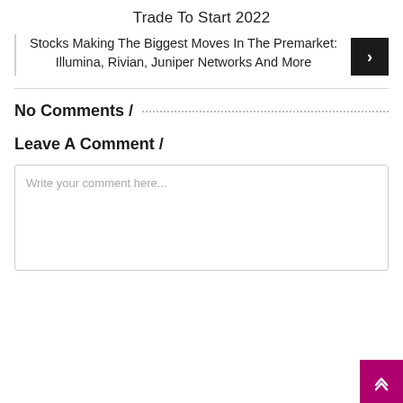Trade To Start 2022
Stocks Making The Biggest Moves In The Premarket: Illumina, Rivian, Juniper Networks And More
No Comments /
Leave A Comment /
Write your comment here...